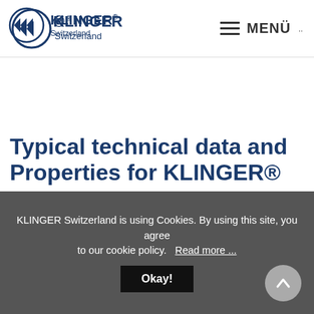KLINGER Switzerland — MENÜ
Typical technical data and Properties for KLINGER®
KLINGER Switzerland is using Cookies. By using this site, you agree to our cookie policy. Read more ...
Okay!